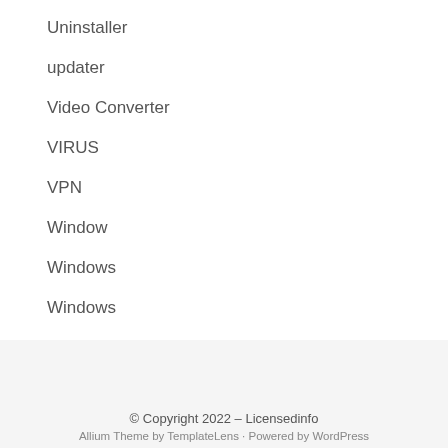Uninstaller
updater
Video Converter
VIRUS
VPN
Window
Windows
Windows
© Copyright 2022 – Licensedinfo
Allium Theme by TemplateLens · Powered by WordPress